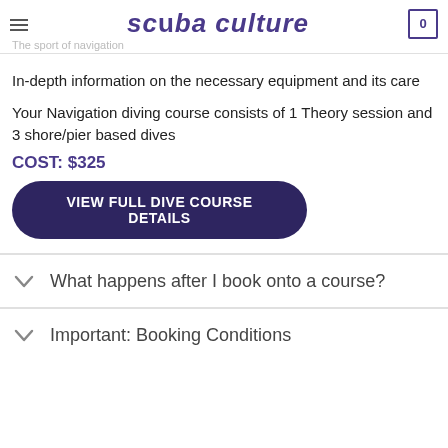scuba culture
The sport of navigation
In-depth information on the necessary equipment and its care
Your Navigation diving course consists of 1 Theory session and 3 shore/pier based dives
COST: $325
VIEW FULL DIVE COURSE DETAILS
What happens after I book onto a course?
Important: Booking Conditions